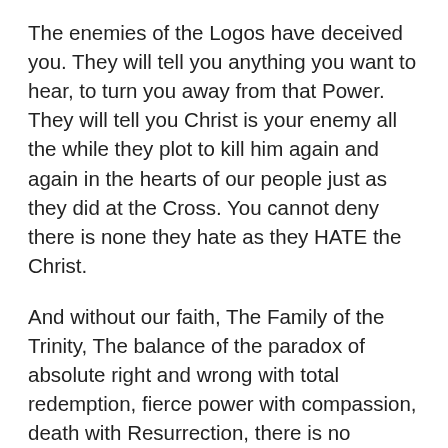The enemies of the Logos have deceived you. They will tell you anything you want to hear, to turn you away from that Power. They will tell you Christ is your enemy all the while they plot to kill him again and again in the hearts of our people just as they did at the Cross. You cannot deny there is none they hate as they HATE the Christ.
And without our faith, The Family of the Trinity, The balance of the paradox of absolute right and wrong with total redemption, fierce power with compassion, death with Resurrection, there is no purpose to your love. You don't matter if there is no God. Only the cold and the ruthless of this natural fallen world you worship will prevail, and only they should prevail in that reality. In that view, the world is dead and meaningless, and only the strong deserve to live because there is no reality, no good, no God, everything is relative.